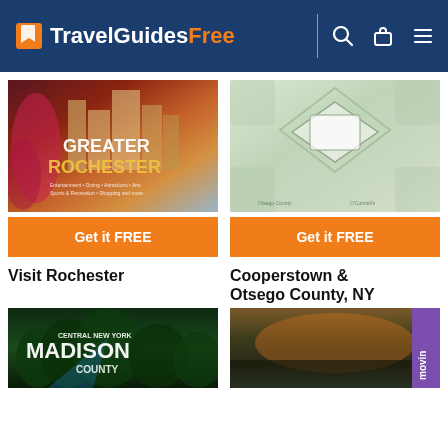TravelGuidesFree
[Figure (photo): Greater Rochester travel guide cover with city skyline and text GREATER ROCHESTER]
[Figure (photo): Cooperstown & Otsego County NY travel guide cover with collage of local imagery]
Get it FREE
Get it FREE
Visit Rochester
Cooperstown & Otsego County, NY
[Figure (photo): Central New York Madison County travel guide cover with green forest imagery and large MADISON text]
[Figure (photo): Moving guide cover with sunset landscape and purple movin label on right side]